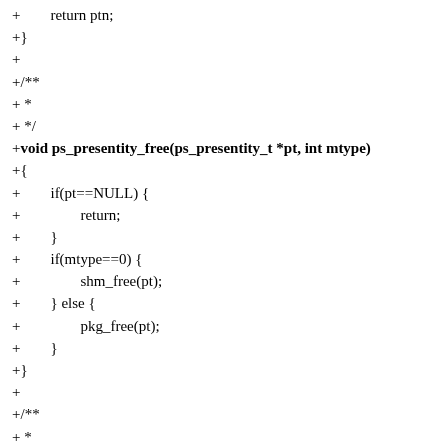+ return ptn;
+}
+
+/**
+ *
+ */
+void ps_presentity_free(ps_presentity_t *pt, int mtype)
+{
+        if(pt==NULL) {
+                return;
+        }
+        if(mtype==0) {
+                shm_free(pt);
+        } else {
+                pkg_free(pt);
+        }
+}
+
+/**
+ *
+ */
+void ps_presentity_list_free(ps_presentity_t *pt, int mtype)
+{
+        ps_presentity_t *ptc = NULL;
+        ps_presentity_t *ptn = NULL;
+